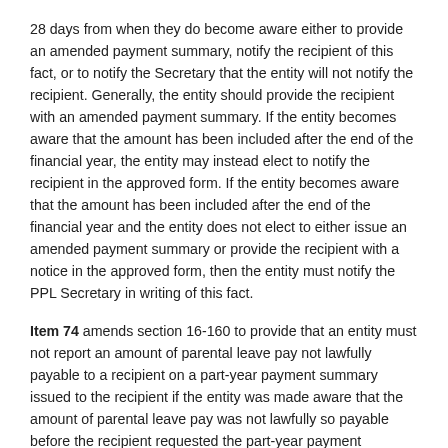28 days from when they do become aware either to provide an amended payment summary, notify the recipient of this fact, or to notify the Secretary that the entity will not notify the recipient. Generally, the entity should provide the recipient with an amended payment summary. If the entity becomes aware that the amount has been included after the end of the financial year, the entity may instead elect to notify the recipient in the approved form. If the entity becomes aware that the amount has been included after the end of the financial year and the entity does not elect to either issue an amended payment summary or provide the recipient with a notice in the approved form, then the entity must notify the PPL Secretary in writing of this fact.
Item 74 amends section 16-160 to provide that an entity must not report an amount of parental leave pay not lawfully payable to a recipient on a part-year payment summary issued to the recipient if the entity was made aware that the amount of parental leave pay was not lawfully so payable before the recipient requested the part-year payment summary.